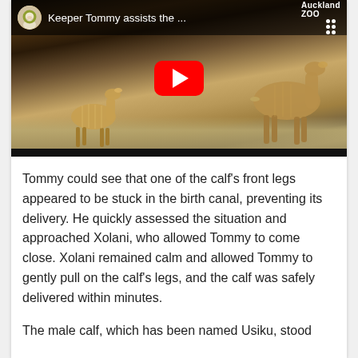[Figure (screenshot): YouTube video thumbnail showing two antelope (a mother and calf) walking, with a YouTube play button overlay. The video title bar reads 'Keeper Tommy assists the ...' with an Auckland Zoo logo and a small dog avatar.]
Tommy could see that one of the calf's front legs appeared to be stuck in the birth canal, preventing its delivery. He quickly assessed the situation and approached Xolani, who allowed Tommy to come close. Xolani remained calm and allowed Tommy to gently pull on the calf's legs, and the calf was safely delivered within minutes.
The male calf, which has been named Usiku, stood